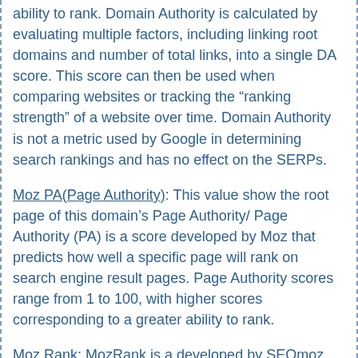ability to rank. Domain Authority is calculated by evaluating multiple factors, including linking root domains and number of total links, into a single DA score. This score can then be used when comparing websites or tracking the "ranking strength" of a website over time. Domain Authority is not a metric used by Google in determining search rankings and has no effect on the SERPs.
Moz PA(Page Authority): This value show the root page of this domain's Page Authority/ Page Authority (PA) is a score developed by Moz that predicts how well a specific page will rank on search engine result pages. Page Authority scores range from 1 to 100, with higher scores corresponding to a greater ability to rank.
Moz Rank: MozRank is a developed by SEOmoz similar to Google Pagerank and scaled